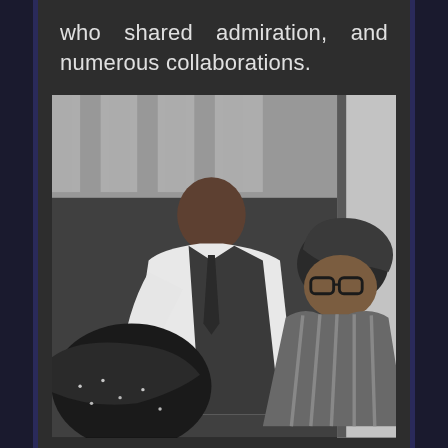who shared admiration, and numerous collaborations.
[Figure (photo): Black and white photograph of two men in a social setting, one leaning forward in a suit and the other with glasses and curly hair, appearing to be in conversation or laughing together.]